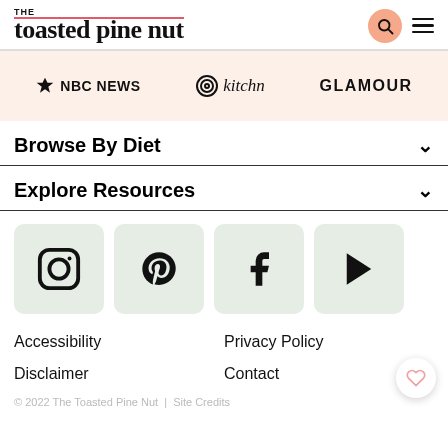THE toasted pine nut
[Figure (logo): NBC News, kitchn, and GLAMOUR press logos on a light peach background]
Browse By Diet
Explore Resources
[Figure (infographic): Social media icons: Instagram, Pinterest, Facebook, YouTube on sage green rounded square backgrounds]
Accessibility
Privacy Policy
Disclaimer
Contact
© 2022 The Toasted Pine Nut  |  Site Credits